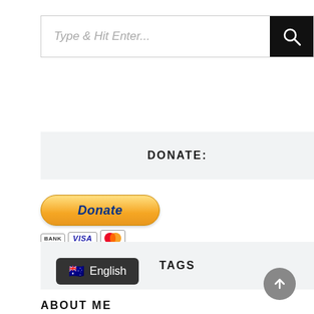[Figure (screenshot): Search bar with placeholder text 'Type & Hit Enter...' and a black search button with magnifying glass icon]
DONATE:
[Figure (other): PayPal Donate button with payment icons: BANK, VISA, MasterCard]
TAGS
ABOUT ME
[Figure (screenshot): Language selector overlay showing Australian flag and 'English']
[Figure (other): Back to top button - grey circle with upward arrow]